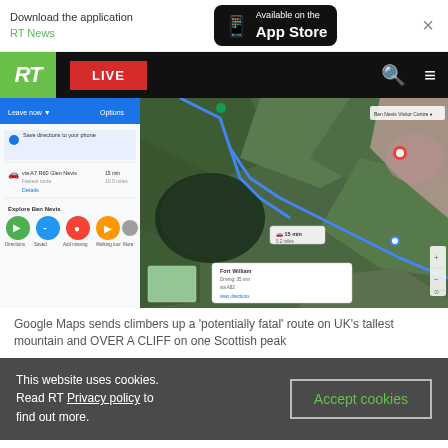[Figure (screenshot): App download banner: 'Download the application RT News' with App Store badge and close button]
[Figure (screenshot): RT News navigation bar with green RT logo, red LIVE button, search and menu icons on black background]
[Figure (map): Google Maps screenshot showing a route on Ben Nevis, UK's tallest mountain, with satellite imagery and direction panel on the left]
Google Maps sends climbers up a ‘potentially fatal’ route on UK’s tallest mountain and OVER A CLIFF on one Scottish peak
This website uses cookies. Read RT Privacy policy to find out more.